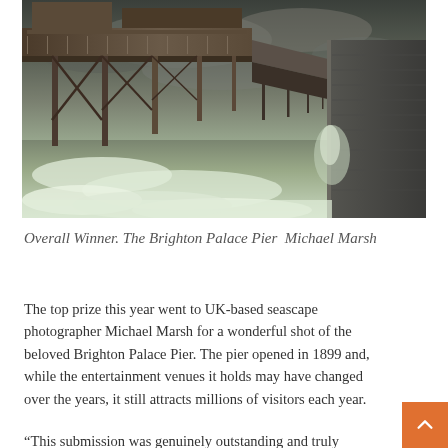[Figure (photo): Dark dramatic photograph of Brighton Palace Pier from below, showing iron lattice supports and decking extending into the distance, with stormy grey sky and churning white water waves below]
Overall Winner. The Brighton Palace Pier  Michael Marsh
The top prize this year went to UK-based seascape photographer Michael Marsh for a wonderful shot of the beloved Brighton Palace Pier. The pier opened in 1899 and, while the entertainment venues it holds may have changed over the years, it still attracts millions of visitors each year.
“This submission was genuinely outstanding and truly